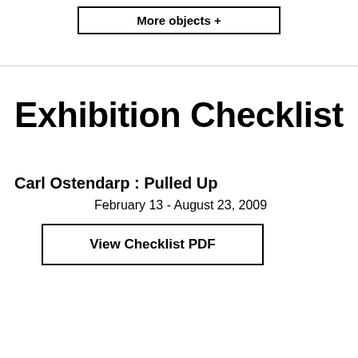More objects +
Exhibition Checklist
Carl Ostendarp : Pulled Up
February 13 - August 23, 2009
View Checklist PDF